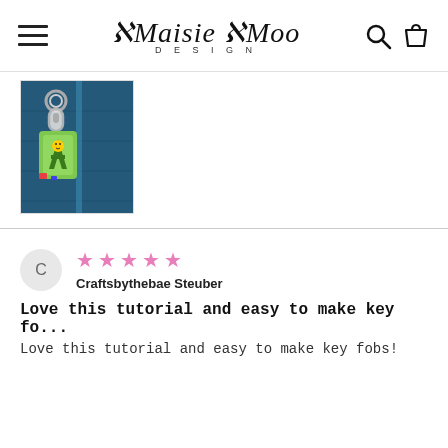Maisie Moo DESIGN
[Figure (photo): A colorful letter 'A' keychain/key fob attached to a blue bag zipper with a silver clip and ring.]
C  ★★★★★  Craftsbythebae Steuber
Love this tutorial and easy to make key fo...
Love this tutorial and easy to make key fobs!